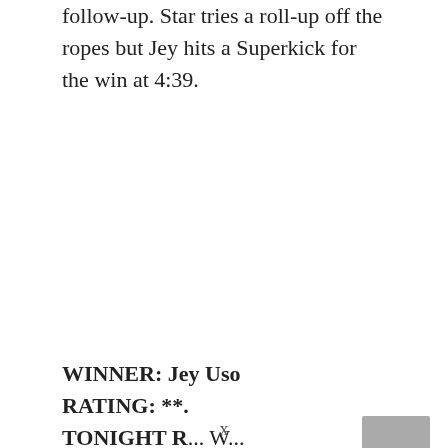follow-up. Star tries a roll-up off the ropes but Jey hits a Superkick for the win at 4:39.
WINNER: Jey Uso
RATING: **.
TONIGHT R... W...